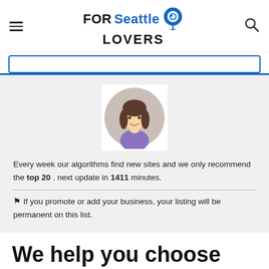FOR Seattle LOVERS
[Figure (illustration): Cartoon avatar of a woman with dark hair and purple top, inside a circle, on a grey background]
Every week our algorithms find new sites and we only recommend the top 20 . next update in 1411 minutes.
⚑ If you promote or add your business, your listing will be permanent on this list.
We help you choose